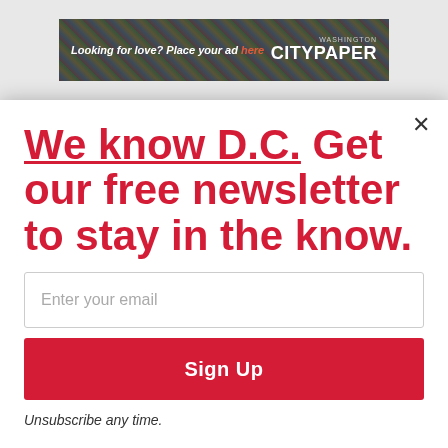[Figure (screenshot): Washington City Paper banner advertisement: 'Looking for love? Place your ad here' with City Paper logo on dark background with colorful photo collage]
We know D.C. Get our free newsletter to stay in the know.
Enter your email
Sign Up
Unsubscribe any time.